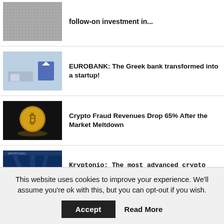[Figure (photo): Partial top news item thumbnail - textured/fabric image]
follow-on investment in...
[Figure (photo): Eurobank office interior with house logo]
EUROBANK: The Greek bank transformed into a startup!
[Figure (photo): Bitcoin gold coin on dark background]
Crypto Fraud Revenues Drop 65% After the Market Meltdown
[Figure (photo): Two people on stage at Kryptonio event with blue lighting]
Kryptonio: The most advanced crypto wallet of the new...
[Figure (photo): Navi Payments Greece partial image]
Navi Payments Greece marks the
This website uses cookies to improve your experience. We'll assume you're ok with this, but you can opt-out if you wish.
Accept
Read More